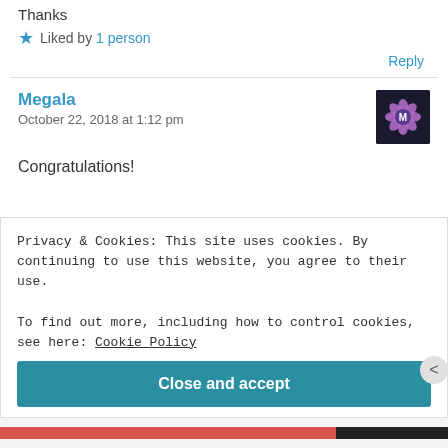Thanks
★ Liked by 1 person
Reply
Megala
October 22, 2018 at 1:12 pm
Congratulations!
Privacy & Cookies: This site uses cookies. By continuing to use this website, you agree to their use. To find out more, including how to control cookies, see here: Cookie Policy
Close and accept